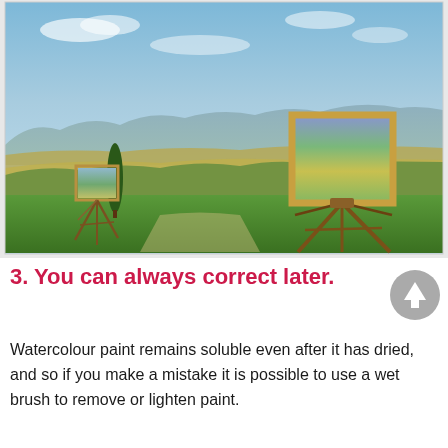[Figure (photo): Two artists painting outdoors on easels in a rolling countryside landscape. The left easel is smaller with a wooden tripod, the right has a larger wooden frame. Green grass in the foreground, rolling hills and blue sky in the background.]
3. You can always correct later.
Watercolour paint remains soluble even after it has dried, and so if you make a mistake it is possible to use a wet brush to remove or lighten paint.